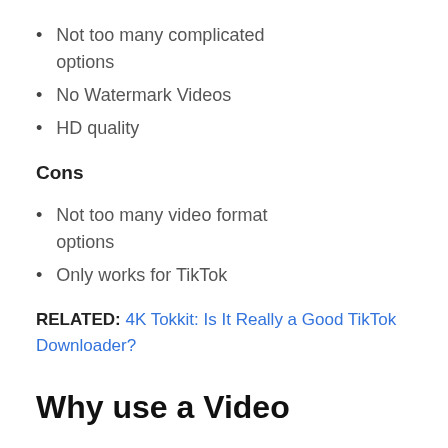Not too many complicated options
No Watermark Videos
HD quality
Cons
Not too many video format options
Only works for TikTok
RELATED: 4K Tokkit: Is It Really a Good TikTok Downloader?
Why use a Video